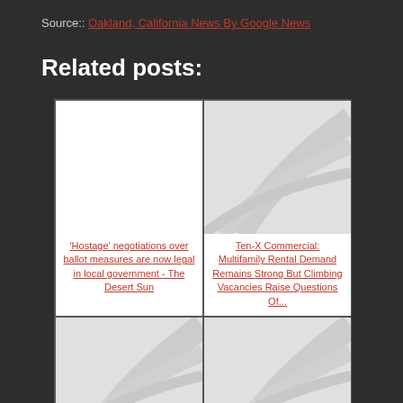Source:: Oakland, California News By Google News
Related posts:
[Figure (other): Blank white thumbnail placeholder for first related post]
[Figure (photo): Gray placeholder image with diagonal swoosh graphic for second related post]
'Hostage' negotiations over ballot measures are now legal in local government - The Desert Sun
Ten-X Commercial: Multifamily Rental Demand Remains Strong But Climbing Vacancies Raise Questions Of...
[Figure (photo): Gray placeholder image with diagonal swoosh graphic for third related post]
[Figure (photo): Gray placeholder image with diagonal swoosh graphic for fourth related post]